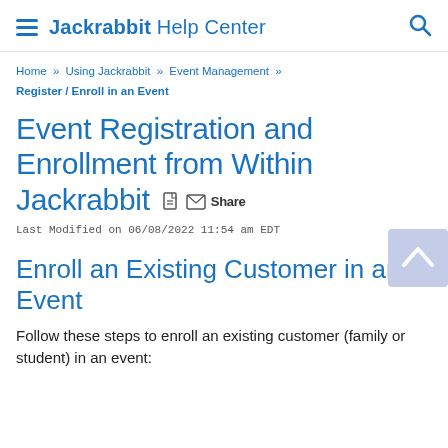Jackrabbit Help Center
Home » Using Jackrabbit » Event Management » Register / Enroll in an Event
Event Registration and Enrollment from Within Jackrabbit  Share
Last Modified on 06/08/2022 11:54 am EDT
Enroll an Existing Customer in an Event
Follow these steps to enroll an existing customer (family or student) in an event: